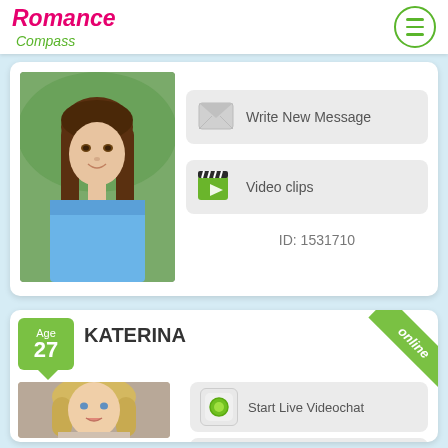Romance Compass
[Figure (screenshot): Profile photo of young brunette woman in blue off-shoulder top]
Write New Message
Video clips
ID: 1531710
Age 27
KATERINA
online
[Figure (screenshot): Profile photo of young blonde woman]
Start Live Videochat
Write New Message